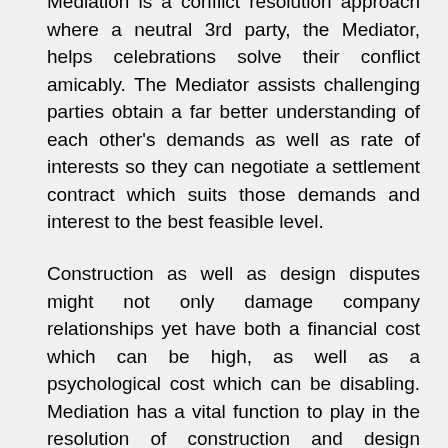Mediation is a conflict resolution approach where a neutral 3rd party, the Mediator, helps celebrations solve their conflict amicably. The Mediator assists challenging parties obtain a far better understanding of each other's demands as well as rate of interests so they can negotiate a settlement contract which suits those demands and interest to the best feasible level.
Construction as well as design disputes might not only damage company relationships yet have both a financial cost which can be high, as well as a psychological cost which can be disabling. Mediation has a vital function to play in the resolution of construction and design conflicts. Work Place Mediation UK published the Work Place Mediation UK Version Mediation